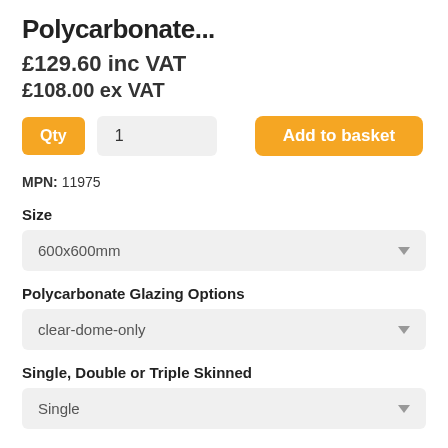Polycarbonate...
£129.60 inc VAT
£108.00 ex VAT
Qty  1   Add to basket
MPN: 11975
Size
600x600mm
Polycarbonate Glazing Options
clear-dome-only
Single, Double or Triple Skinned
Single